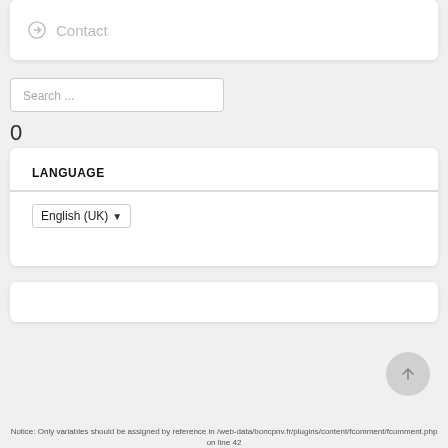Contact
Search ...
0
LANGUAGE
English (UK)
Notice: Only variables should be assigned by reference in /web-data/boncpnv.fr/plugins/content/fcomment/fcomment.php on line 42